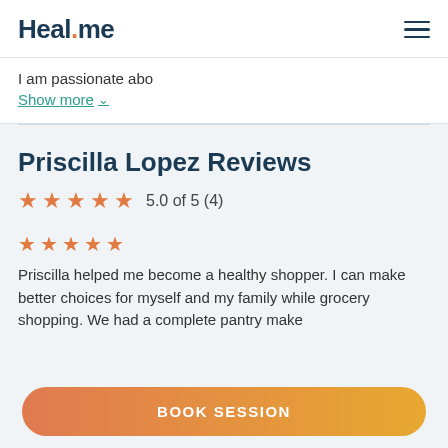Heal.me
I am passionate abo
Show more
Priscilla Lopez Reviews
5.0 of 5 (4)
Priscilla helped me become a healthy shopper. I can make better choices for myself and my family while grocery shopping. We had a complete pantry make
BOOK SESSION